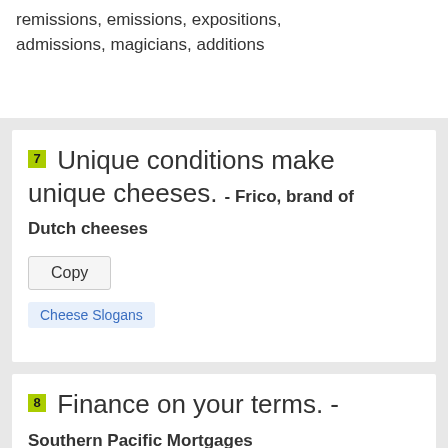remissions, emissions, expositions, admissions, magicians, additions
7 Unique conditions make unique cheeses. - Frico, brand of Dutch cheeses
8 Finance on your terms. - Southern Pacific Mortgages